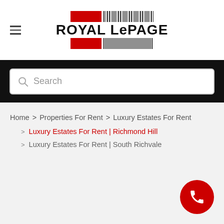[Figure (logo): Royal LePage logo with red blocks and barcode stripes]
Search
Home > Properties For Rent > Luxury Estates For Rent
Luxury Estates For Rent | Richmond Hill
Luxury Estates For Rent | South Richvale